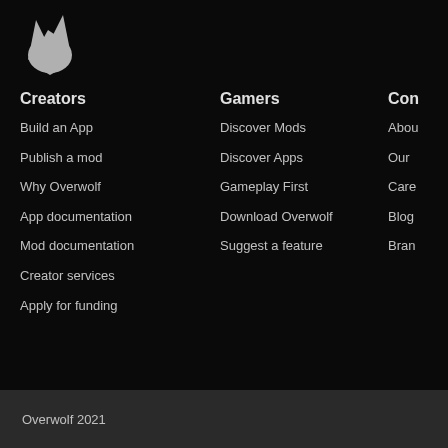[Figure (logo): Overwolf wolf head logo in light gray on black background]
Creators
Build an App
Publish a mod
Why Overwolf
App documentation
Mod documentation
Creator services
Apply for funding
Gamers
Discover Mods
Discover Apps
Gameplay First
Download Overwolf
Suggest a feature
Con
Abou
Our
Care
Blog
Bran
Overwolf 2021